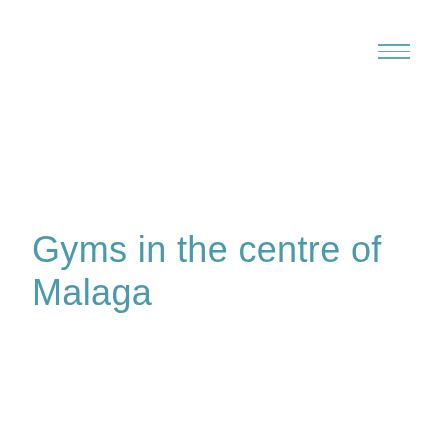[Figure (other): Hamburger menu icon made of three horizontal lines in light blue/teal color, positioned in top-right corner]
Gyms in the centre of Malaga